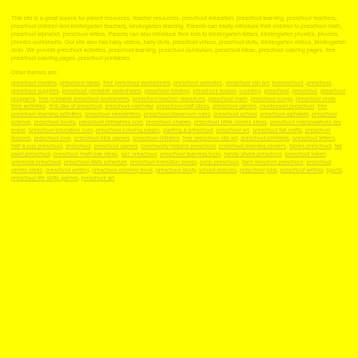This site is a great source for parent resources, teacher resources, preschool education, preschool learning, preschool teachers, preschool children and kindergarten teachers, kindergarten learning. Parents can easily introduce their children to preschool math, preschool alphabet, preschool letters. Parents can also introduce their kids to kindergarten letters, kindergarten phonics, phonics, phonics worksheets. Our site also has baby videos, baby dvds, preschool videos, preschool dvds, kindergarten videos, kindergarten dvds. We provide preschool activities, preschool learning, preschool curriculum, preschool ideas, preschool coloring pages, free preschool coloring pages, preschool printables.
Other themes are:
preschool months, preschool ideas, free preschool worksheets, preschool websites, preschool clip art, homeschool, preschool, preschool supplies, preschool printable worksheets, preschool funding, preschool lesson, counting, preschool, preschool, preschool programs, free printable preschool worksheets, preschool teacher resources, preschool math, preschool songs, preschool circle time activities, first day of preschool, preschool calendar, preschool craft ideas, preschool games, montessori preschool, free preschool learning activities, preschool newsletters, preschool classroom rules, preschool school, preschool alphabet, preschool science, preschool books, preschool printables com, preschool shapes, preschool bible stories ideas, preschool manipulatives dry erase, preschool education com, preschool coloring pages, starting a preschool, preschool art, preschool fall crafts, preschool lessons, preschool love, preschool kids games, preschool children, free preschool clip art, preschool printable, preschool letters, half a cup preschool, preschool, preschool games, community helpers preschool, preschool learning centers, tables preschool, fall paint preschool, preschool math bar ideas, abc preschool, preschool learning tools, sandy shore preschool, preschool token, universal preschool, preschool daily schedule, preschool transition songs, jump preschool, farm kingdom preschool, preschool center ideas, preschool writing, preschool coloring book, preschool study, school lessons, preschool jobs, preschool writing, sports, preschool life skills games, preschool art